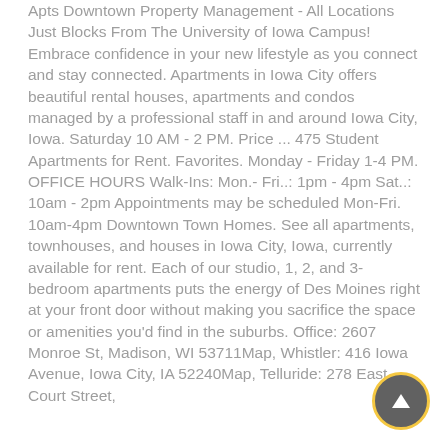Apts Downtown Property Management - All Locations Just Blocks From The University of Iowa Campus! Embrace confidence in your new lifestyle as you connect and stay connected. Apartments in Iowa City offers beautiful rental houses, apartments and condos managed by a professional staff in and around Iowa City, Iowa. Saturday 10 AM - 2 PM. Price ... 475 Student Apartments for Rent. Favorites. Monday - Friday 1-4 PM. OFFICE HOURS Walk-Ins: Mon.- Fri..: 1pm - 4pm Sat..: 10am - 2pm Appointments may be scheduled Mon-Fri. 10am-4pm Downtown Town Homes. See all apartments, townhouses, and houses in Iowa City, Iowa, currently available for rent. Each of our studio, 1, 2, and 3-bedroom apartments puts the energy of Des Moines right at your front door without making you sacrifice the space or amenities you'd find in the suburbs. Office: 2607 Monroe St, Madison, WI 53711Map, Whistler: 416 Iowa Avenue, Iowa City, IA 52240Map, Telluride: 278 East Court Street,
[Figure (other): Circular scroll-to-top button with dark grey background and upward arrow, outlined with yellow/gold border]